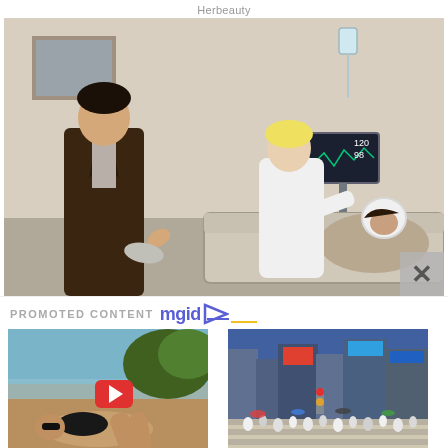Herbeauty
[Figure (photo): TV drama scene: a young man in a brown jacket speaks to a blonde woman in a white lab coat who attends to a patient lying in a hospital bed with IV drip and medical monitor visible in background.]
PROMOTED CONTENT mgid ▷
[Figure (photo): Woman in bikini lying on a beach with a YouTube play button overlay. Thumbnail for article about Kim K bikini pic.]
Why People Are Enraged About This Kim K Bikini Pic? Look Closer!
[Figure (photo): Crowded city street crossing in Japan with many people wearing masks, tall buildings with neon signs and traffic lights visible.]
Ninja Covid Is Highly Transmissible Than Other Strains Of Virus